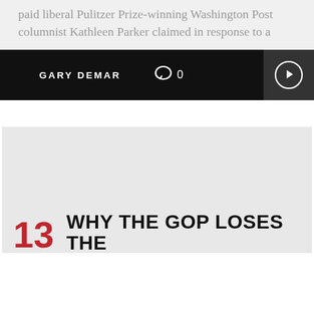paid liberal Pulitzer Prize-winning Washington Post columnist Kathleen Parker claimed in response to a
GARY DEMAR  0
[Figure (other): Gray placeholder image block for article card]
13  WHY THE GOP LOSES THE